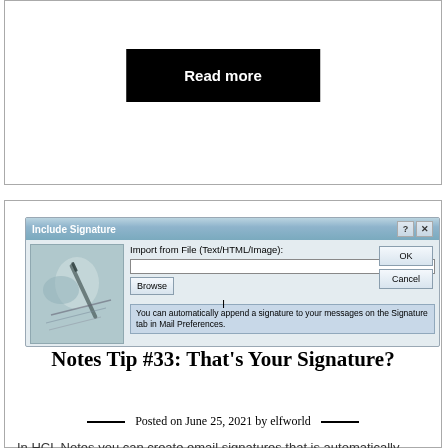[Figure (screenshot): Black 'Read more' button on white background within a card]
[Figure (screenshot): Windows-style 'Include Signature' dialog box with file import field, Browse button, OK/Cancel buttons, signature photo, and tooltip text]
Notes Tip #33: That's Your Signature?
Posted on June 25, 2021 by elfworld
In HCL Notes you can create email signatures that is automatically added to the bottom of your emails. You can